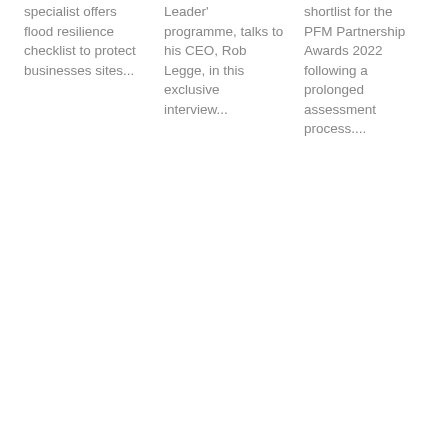specialist offers flood resilience checklist to protect businesses sites...
Leader' programme, talks to his CEO, Rob Legge, in this exclusive interview...
shortlist for the PFM Partnership Awards 2022 following a prolonged assessment process....